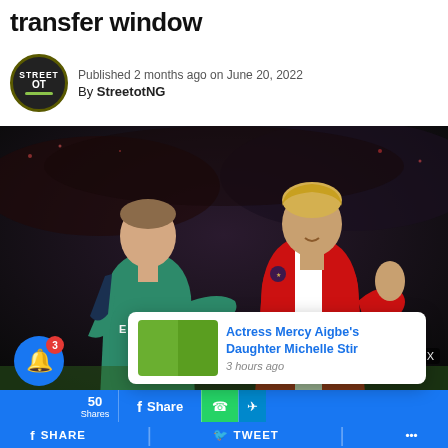transfer window
Published 2 months ago on June 20, 2022
By StreetotNG
[Figure (photo): Two football players on pitch — one wearing a dark Tottenham jersey with 'ERIKSEN 23' on the back, the other in an Ajax red-and-white jersey. Stadium background.]
Actress Mercy Aigbe's Daughter Michelle Stir
3 hours ago
50 Shares   Share   (WhatsApp)   (Telegram)
SHARE   TWEET